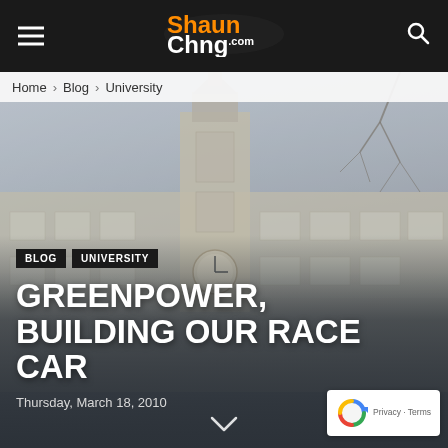ShaunChng.com
Home › Blog › University
[Figure (photo): Foggy exterior view of a university building with a clock tower, misty grey sky and bare trees in the background]
BLOG   UNIVERSITY
GREENPOWER, BUILDING OUR RACE CAR
Thursday, March 18, 2010